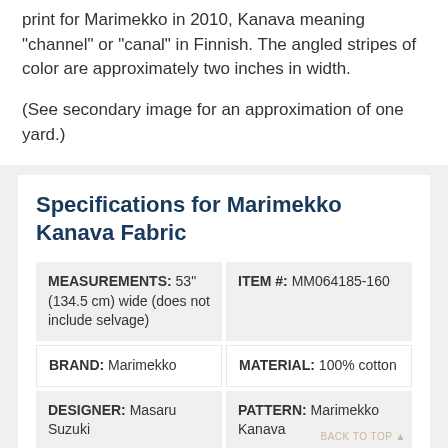print for Marimekko in 2010, Kanava meaning "channel" or "canal" in Finnish. The angled stripes of color are approximately two inches in width.
(See secondary image for an approximation of one yard.)
Specifications for Marimekko Kanava Fabric
| MEASUREMENTS: 53" (134.5 cm) wide (does not include selvage) | ITEM #: MM064185-160 |
| BRAND: Marimekko | MATERIAL: 100% cotton |
| DESIGNER: Masaru Suzuki | PATTERN: Marimekko Kanava |
| PRODUCT FAMILY: Marimekko Cotton | COUNTRY: Designed in Finland, Made in |